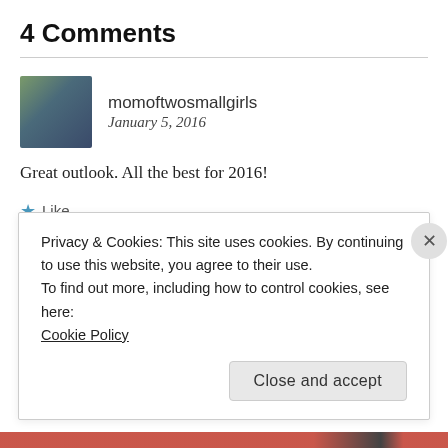4 Comments
momoftwosmallgirls
January 5, 2016
Great outlook. All the best for 2016!
Like
Reply
Privacy & Cookies: This site uses cookies. By continuing to use this website, you agree to their use.
To find out more, including how to control cookies, see here:
Cookie Policy
Close and accept